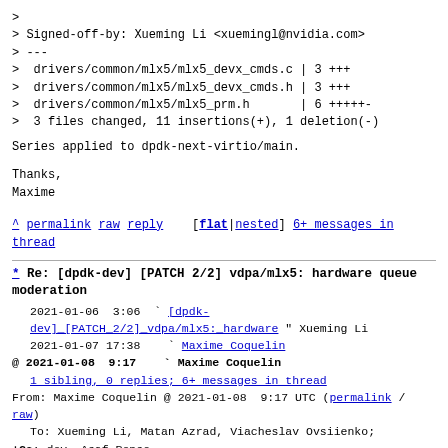>
> Signed-off-by: Xueming Li <xuemingl@nvidia.com>
> ---
>  drivers/common/mlx5/mlx5_devx_cmds.c | 3 +++
>  drivers/common/mlx5/mlx5_devx_cmds.h | 3 +++
>  drivers/common/mlx5/mlx5_prm.h       | 6 +++++- 
>  3 files changed, 11 insertions(+), 1 deletion(-)
Series applied to dpdk-next-virtio/main.

Thanks,
Maxime
^ permalink raw reply   [flat|nested] 6+ messages in thread
* Re: [dpdk-dev] [PATCH 2/2] vdpa/mlx5: hardware queue moderation
2021-01-06  3:06 ` [dpdk-dev] [PATCH 2/2] vdpa/mlx5: hardware " Xueming Li
   2021-01-07 17:38   ` Maxime Coquelin
@ 2021-01-08  9:17   ` Maxime Coquelin
   1 sibling, 0 replies; 6+ messages in thread
From: Maxime Coquelin @ 2021-01-08  9:17 UTC (permalink / raw)
   To: Xueming Li, Matan Azrad, Viacheslav Ovsiienko;
+Cc: dev, Asaf Penso